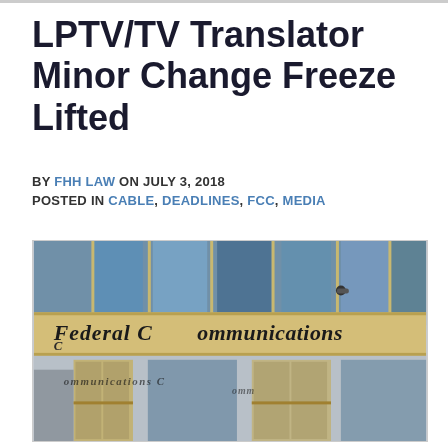LPTV/TV Translator Minor Change Freeze Lifted
BY FHH LAW ON JULY 3, 2018
POSTED IN CABLE, DEADLINES, FCC, MEDIA
[Figure (photo): Exterior photo of the Federal Communications Commission building entrance, showing gold-colored signage reading 'Federal Communications Commission' on the building facade with glass windows and doors in the background.]